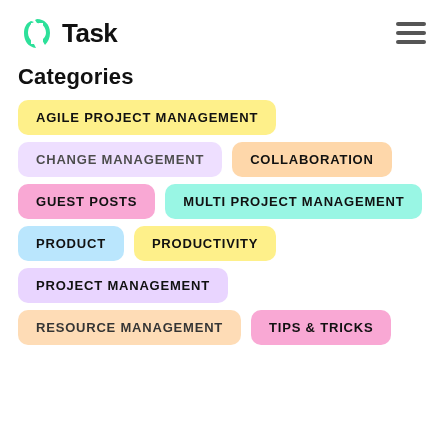nTask logo and hamburger menu
Categories
AGILE PROJECT MANAGEMENT
CHANGE MANAGEMENT
COLLABORATION
GUEST POSTS
MULTI PROJECT MANAGEMENT
PRODUCT
PRODUCTIVITY
PROJECT MANAGEMENT
RESOURCE MANAGEMENT
TIPS & TRICKS